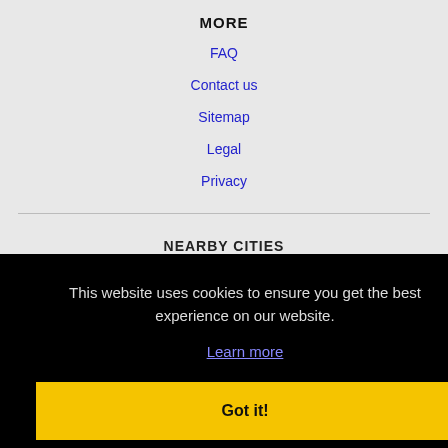MORE
FAQ
Contact us
Sitemap
Legal
Privacy
NEARBY CITIES
This website uses cookies to ensure you get the best experience on our website.
Learn more
Got it!
Terms of Use    Register / Log In